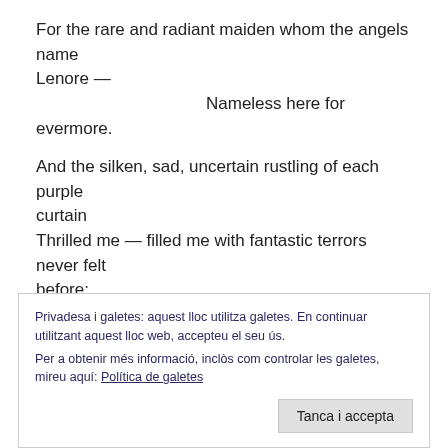For the rare and radiant maiden whom the angels name Lenore —
Nameless here for evermore.
And the silken, sad, uncertain rustling of each purple curtain
Thrilled me — filled me with fantastic terrors never felt before;
So that now, to still the beating of my heart, I stood repeating,
"'T is some visitor entreating entrance at my chamber
Privadesa i galetes: aquest lloc utilitza galetes. En continuar utilitzant aquest lloc web, accepteu el seu ús.
Per a obtenir més informació, inclòs com controlar les galetes, mireu aquí: Política de galetes
Tanca i accepta